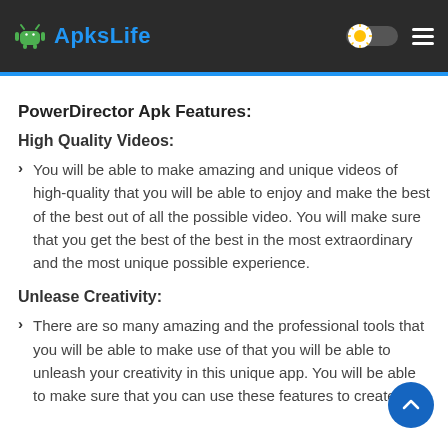ApksLife
PowerDirector Apk Features:
High Quality Videos:
You will be able to make amazing and unique videos of high-quality that you will be able to enjoy and make the best of the best out of all the possible video. You will make sure that you get the best of the best in the most extraordinary and the most unique possible experience.
Unlease Creativity:
There are so many amazing and the professional tools that you will be able to make use of that you will be able to unleash your creativity in this unique app. You will be able to make sure that you can use these features to create fast and outstanding...